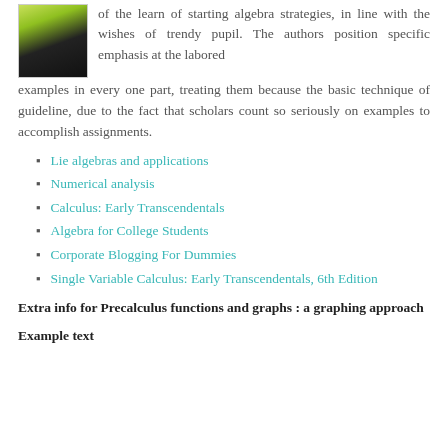[Figure (photo): Book cover thumbnail with green and dark design]
of the learn of starting algebra strategies, in line with the wishes of trendy pupil. The authors position specific emphasis at the labored examples in every one part, treating them because the basic technique of guideline, due to the fact that scholars count so seriously on examples to accomplish assignments.
Lie algebras and applications
Numerical analysis
Calculus: Early Transcendentals
Algebra for College Students
Corporate Blogging For Dummies
Single Variable Calculus: Early Transcendentals, 6th Edition
Extra info for Precalculus functions and graphs : a graphing approach
Example text